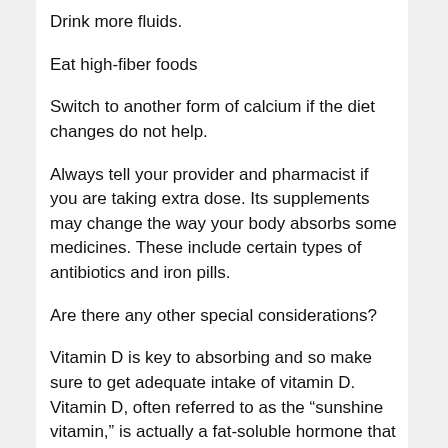Drink more fluids.
Eat high-fiber foods
Switch to another form of calcium if the diet changes do not help.
Always tell your provider and pharmacist if you are taking extra dose. Its supplements may change the way your body absorbs some medicines. These include certain types of antibiotics and iron pills.
Are there any other special considerations?
Vitamin D is key to absorbing and so make sure to get adequate intake of vitamin D. Vitamin D, often referred to as the “sunshine vitamin,” is actually a fat-soluble hormone that the body can synthesize naturally. There are several forms, including two that are important to humans: D2 and D3. Vitamin D2 (ergocalciferol) is synthesized by plants, and vitamin D3 (cholecalciferol) is synthesized by humans when skin is exposed to